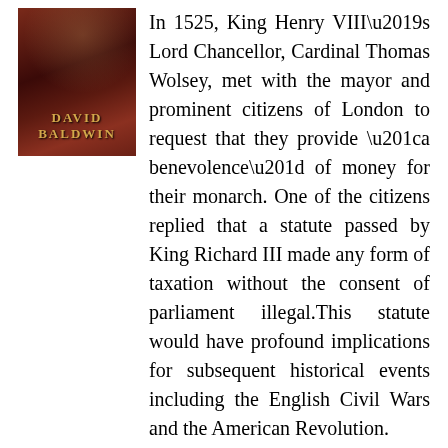[Figure (illustration): Book cover image showing a medieval king figure with dark red and gold tones, with the author name DAVID BALDWIN displayed in gold letters at the bottom]
In 1525, King Henry VIII’s Lord Chancellor, Cardinal Thomas Wolsey, met with the mayor and prominent citizens of London to request that they provide “a benevolence” of money for their monarch. One of the citizens replied that a statute passed by King Richard III made any form of taxation without the consent of parliament illegal.This statute would have profound implications for subsequent historical events including the English Civil Wars and the American Revolution.
After thirty years of Tudor propaganda designed to blacken the late King Richard III’s reputation, Cardinal Wolsey was incredulous that anyone would use the last Plantagenet King’s legislation to support his argument. Wolsey declared to the assembled Londoners, “I marvel that you speak of Richard the third, which was a usurper and murderer of his own nephews. Then of so evil a man, how can the acts be good? Make no such